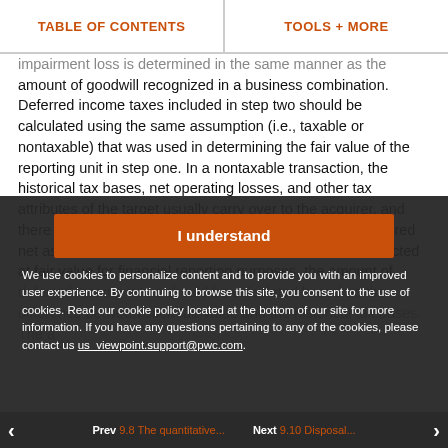TABLE OF CONTENTS | TOOLS + MORE
impairment loss is determined in the same manner as the amount of goodwill recognized in a business combination. Deferred income taxes included in step two should be calculated using the same assumption (i.e., taxable or nontaxable) that was used in determining the fair value of the reporting unit in step one. In a nontaxable transaction, the historical tax bases, net operating losses, and other tax attributes of the target usually carry over to the acquirer, and there is no step-up of the underlying tax bases of the acquired net assets. However, as identifiable net assets will be reflected at fair value for financial reporting purposes, the amount of deferred income taxes should be calculated based on the difference between such fair value and the historical tax bases. The acquirer had simply carried forward certain deferred tax balances. Following the guidance in ASC 805, a deferred tax asset is recorded when there is a tax basis in tax-deductible goodwill in excess of the fair value of book tax asset
I understand

We use cookies to personalize content and to provide you with an improved user experience. By continuing to browse this site, you consent to the use of cookies. Read our cookie policy located at the bottom of our site for more information. If you have any questions pertaining to any of the cookies, please contact us us_viewpoint.support@pwc.com.
Prev 9.8 The quantitative... Next 9.10 Disposal...